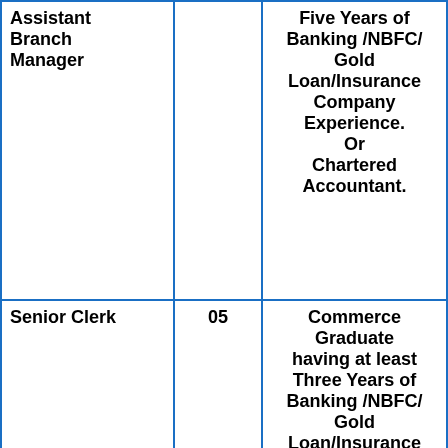| Assistant Branch Manager |  | Five Years of Banking /NBFC/ Gold Loan/Insurance Company Experience. Or Chartered Accountant. |
| Senior Clerk | 05 | Commerce Graduate having at least Three Years of Banking /NBFC/ Gold Loan/Insurance Company |